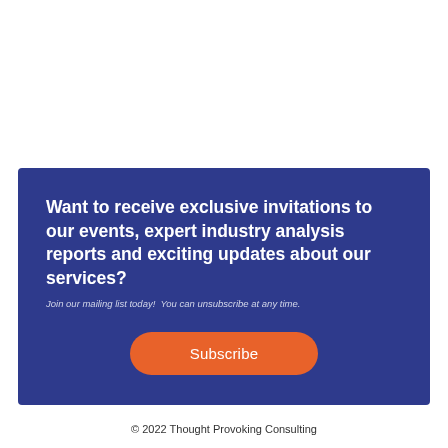Want to receive exclusive invitations to our events, expert industry analysis reports and exciting updates about our services?
Join our mailing list today!  You can unsubscribe at any time.
Subscribe
© 2022 Thought Provoking Consulting
[Figure (logo): Twitter and LinkedIn social icons, and Thought Provoking Consulting logo]